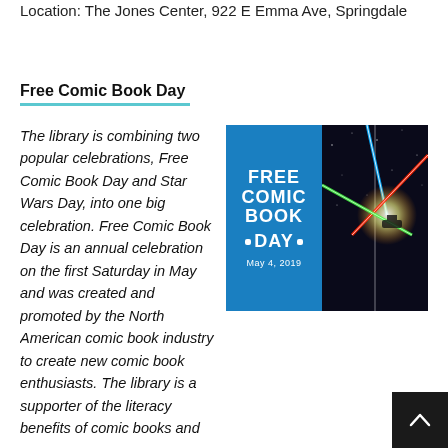Location: The Jones Center, 922 E Emma Ave, Springdale
Free Comic Book Day
[Figure (photo): Composite image: Left half is a blue promotional poster reading 'FREE COMIC BOOK DAY May 4, 2019'; right half is a dark space scene with colorful crossing lightsabers.]
The library is combining two popular celebrations, Free Comic Book Day and Star Wars Day, into one big celebration. Free Comic Book Day is an annual celebration on the first Saturday in May and was created and promoted by the North American comic book industry to create new comic book enthusiasts. The library is a supporter of the literacy benefits of comic books and